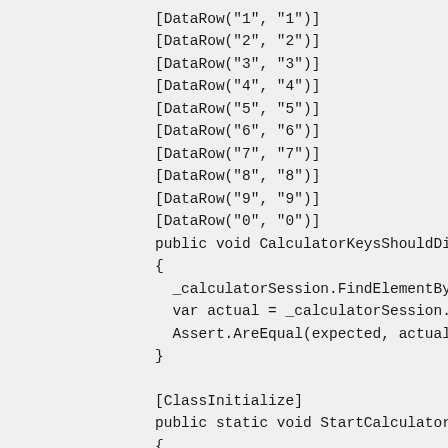[DataRow("1", "1")]
[DataRow("2", "2")]
[DataRow("3", "3")]
[DataRow("4", "4")]
[DataRow("5", "5")]
[DataRow("6", "6")]
[DataRow("7", "7")]
[DataRow("8", "8")]
[DataRow("9", "9")]
[DataRow("0", "0")]
public void CalculatorKeysShouldDisplay(string key, string e
{
  _calculatorSession.FindElementByName(key).Click();
  var actual = _calculatorSession.FindElementByName("Res
  Assert.AreEqual(expected, actual);
}

[ClassInitialize]
public static void StartCalculator(TestContext context)
{
  DesiredCapabilities appCapabilities = new DesiredCapabil
  appCapabilities.SetCapability("app", "calc.exe");